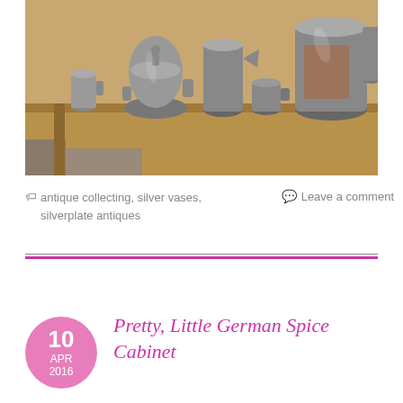[Figure (photo): A collection of antique silver-plated pitchers, vases, and vessels arranged on a wooden shelf. Multiple metallic items of varying sizes are displayed, showing signs of tarnish and age.]
antique collecting, silver vases, silverplate antiques
Leave a comment
Pretty, Little German Spice Cabinet